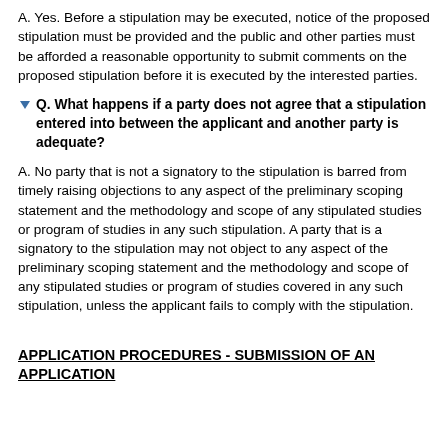A. Yes. Before a stipulation may be executed, notice of the proposed stipulation must be provided and the public and other parties must be afforded a reasonable opportunity to submit comments on the proposed stipulation before it is executed by the interested parties.
Q. What happens if a party does not agree that a stipulation entered into between the applicant and another party is adequate?
A. No party that is not a signatory to the stipulation is barred from timely raising objections to any aspect of the preliminary scoping statement and the methodology and scope of any stipulated studies or program of studies in any such stipulation. A party that is a signatory to the stipulation may not object to any aspect of the preliminary scoping statement and the methodology and scope of any stipulated studies or program of studies covered in any such stipulation, unless the applicant fails to comply with the stipulation.
APPLICATION PROCEDURES - SUBMISSION OF AN APPLICATION